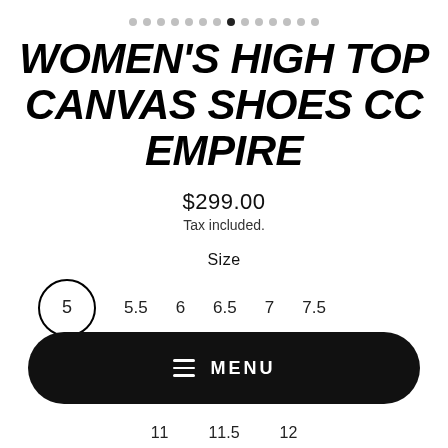[Figure (other): Pagination dots row with 14 dots, 8th dot active/filled]
WOMEN'S HIGH TOP CANVAS SHOES CC EMPIRE
$299.00
Tax included.
Size
5  5.5  6  6.5  7  7.5
[Figure (screenshot): MENU button bar (black pill shape with hamburger icon and MENU text)]
11  11.5  12